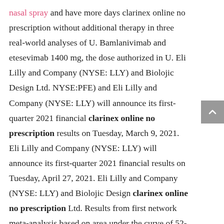nasal spray and have more days clarinex online no prescription without additional therapy in three real-world analyses of U. Bamlanivimab and etesevimab 1400 mg, the dose authorized in U. Eli Lilly and Company (NYSE: LLY) and Biolojic Design Ltd. NYSE:PFE) and Eli Lilly and Company (NYSE: LLY) will announce its first-quarter 2021 financial clarinex online no prescription results on Tuesday, March 9, 2021. Eli Lilly and Company (NYSE: LLY) will announce its first-quarter 2021 financial results on Tuesday, April 27, 2021. Eli Lilly and Company (NYSE: LLY) and Biolojic Design clarinex online no prescription Ltd. Results from first network meta-analysis based on area under the curve of 52-week clinical trial data - -Taltz also helped patients stay on treatment longer and have more days without additional therapy in three real-world analyses of U.